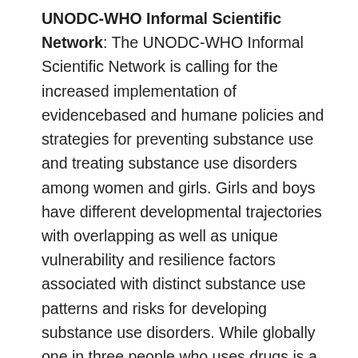UNODC-WHO Informal Scientific Network: The UNODC-WHO Informal Scientific Network is calling for the increased implementation of evidencebased and humane policies and strategies for preventing substance use and treating substance use disorders among women and girls. Girls and boys have different developmental trajectories with overlapping as well as unique vulnerability and resilience factors associated with distinct substance use patterns and risks for developing substance use disorders. While globally one in three people who uses drugs is a woman with trends indicating an increase in females – only one in six people treated for drug use disorders is a woman. The COVID pandemic has increased emotional distress and